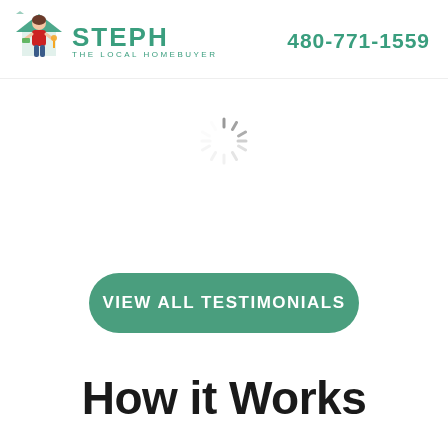[Figure (logo): Steph The Local Homebuyer logo with cartoon woman holding house keys and money, with green STEPH text and THE LOCAL HOMEBUYER subtitle]
480-771-1559
[Figure (other): Loading spinner icon (circular dashed spinner)]
VIEW ALL TESTIMONIALS
How it Works